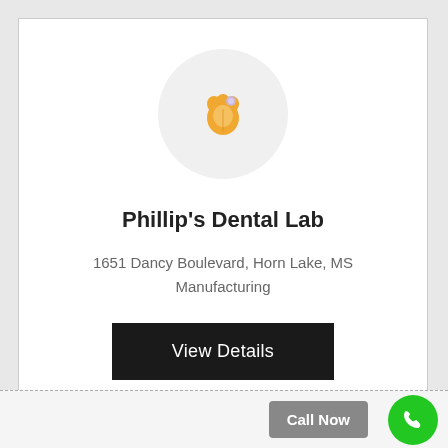[Figure (logo): Circular logo with dental/tooth icon in gold/orange color on light gray circle background]
Phillip's Dental Lab
1651 Dancy Boulevard, Horn Lake, MS
Manufacturing
View Details
Call Now